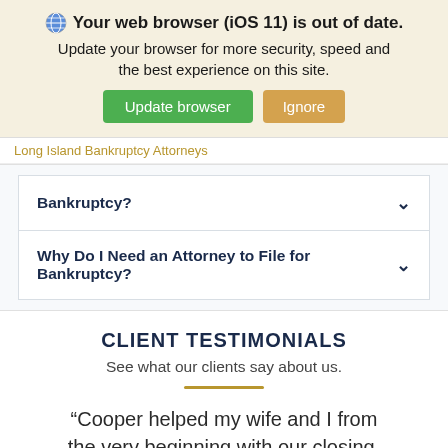[Figure (screenshot): Browser update notification banner with globe icon, bold title 'Your web browser (iOS 11) is out of date.', subtitle text, and two buttons: green 'Update browser' and orange 'Ignore']
Long Island Bankruptcy Attorneys
Bankruptcy?
Why Do I Need an Attorney to File for Bankruptcy?
CLIENT TESTIMONIALS
See what our clients say about us.
“Cooper helped my wife and I from the very beginning with our closing.